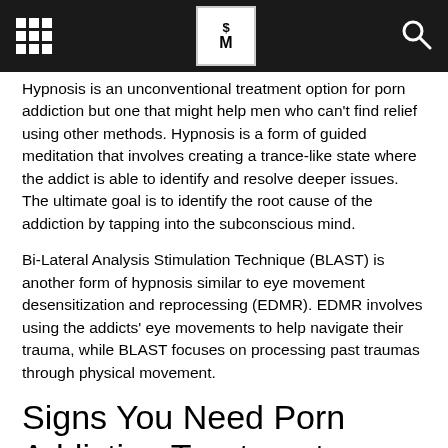[Navigation header with grid icon, SM logo, search icon]
Hypnosis is an unconventional treatment option for porn addiction but one that might help men who can't find relief using other methods. Hypnosis is a form of guided meditation that involves creating a trance-like state where the addict is able to identify and resolve deeper issues. The ultimate goal is to identify the root cause of the addiction by tapping into the subconscious mind.
Bi-Lateral Analysis Stimulation Technique (BLAST) is another form of hypnosis similar to eye movement desensitization and reprocessing (EDMR). EDMR involves using the addicts' eye movements to help navigate their trauma, while BLAST focuses on processing past traumas through physical movement.
Signs You Need Porn Addiction Treatment